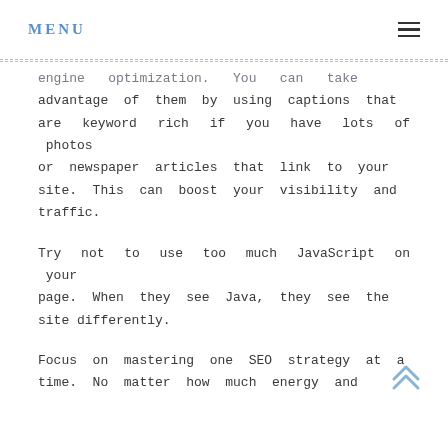MENU
engine optimization. You can take advantage of them by using captions that are keyword rich if you have lots of photos or newspaper articles that link to your site. This can boost your visibility and traffic.
Try not to use too much JavaScript on your page. When they see Java, they see the site differently.
Focus on mastering one SEO strategy at a time. No matter how much energy and